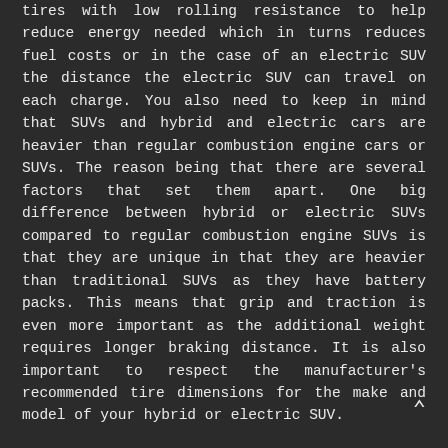tires with low rolling resistance to help reduce energy needed which in turns reduces fuel costs or in the case of an electric SUV the distance the electric SUV can travel on each charge. You also need to keep in mind that SUVs and hybrid and electric cars are heavier than regular combustion engine cars or SUVs. The reason being that there are several factors that set them apart. One big difference between hybrid or electric SUVs compared to regular combustion engine SUVs is that they are unique in that they are heavier than traditional SUVs as they have battery packs. This means that grip and traction is even more important as the additional weight requires longer braking distance. It is also important to respect the manufacturer's recommended tire dimensions for the make and model of your hybrid or electric SUV.
Hybrid and electric SUVs often come equipped with low rolling resistance tires, such as SUV all-season tires,